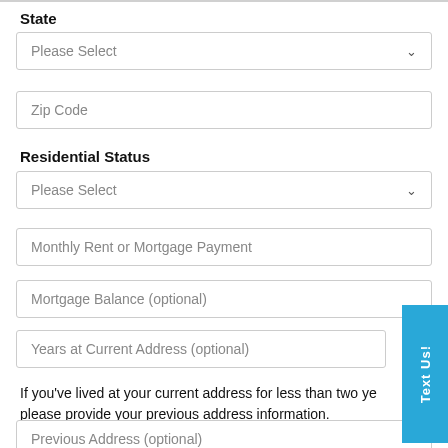State
Please Select
Zip Code
Residential Status
Please Select
Monthly Rent or Mortgage Payment
Mortgage Balance (optional)
Years at Current Address (optional)
If you've lived at your current address for less than two years, please provide your previous address information.
Previous Address (optional)